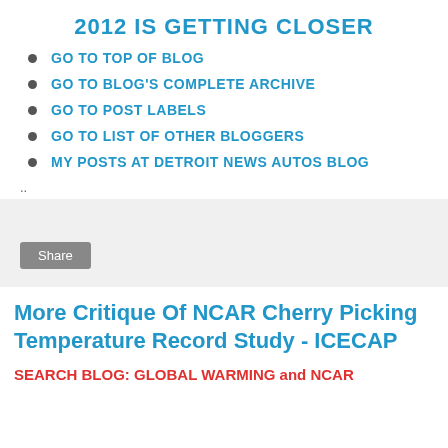2012 IS GETTING CLOSER
GO TO TOP OF BLOG
GO TO BLOG'S COMPLETE ARCHIVE
GO TO POST LABELS
GO TO LIST OF OTHER BLOGGERS
MY POSTS AT DETROIT NEWS AUTOS BLOG
..
[Figure (other): Share button widget area with gray background and a Share button]
More Critique Of NCAR Cherry Picking Temperature Record Study - ICECAP
SEARCH BLOG: GLOBAL WARMING and NCAR